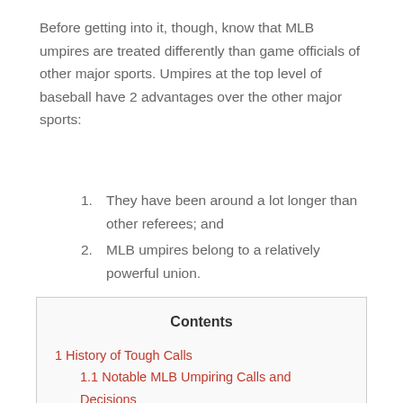Before getting into it, though, know that MLB umpires are treated differently than game officials of other major sports. Umpires at the top level of baseball have 2 advantages over the other major sports:
They have been around a lot longer than other referees; and
MLB umpires belong to a relatively powerful union.
| Contents |
| --- |
| 1 History of Tough Calls |
| 1.1 Notable MLB Umpiring Calls and Decisions |
| 2 What if MLB Started Fining Umpires for Bad Calls? |
| 2.1 How to Fine Umpires for Blown Calls? |